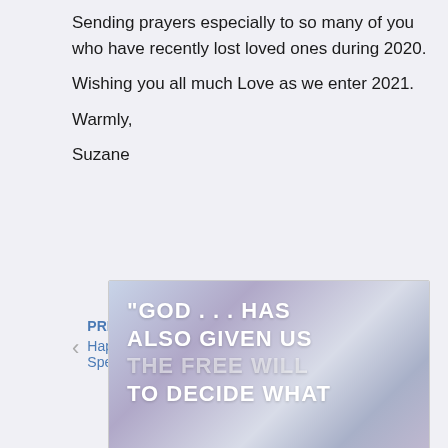Sending prayers especially to so many of you who have recently lost loved ones during 2020. Wishing you all much Love as we enter 2021. Warmly, Suzane
PREVIOUS Happy December! A Special ... | NEXT Sending Love to all as my Val...
[Figure (photo): Inspirational quote image with blurred purple/blue background reading: "GOD ... HAS ALSO GIVEN US THE FREE WILL TO DECIDE WHAT"]